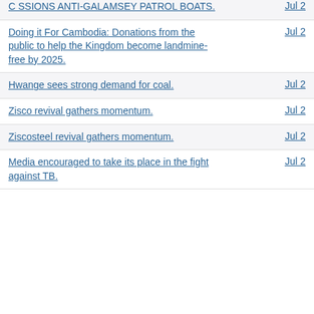C SSIONS ANTI-GALAMSEY PATROL BOATS. Jul 2
Doing it For Cambodia: Donations from the public to help the Kingdom become landmine-free by 2025. Jul 2
Hwange sees strong demand for coal. Jul 2
Zisco revival gathers momentum. Jul 2
Ziscosteel revival gathers momentum. Jul 2
Media encouraged to take its place in the fight against TB. Jul 2